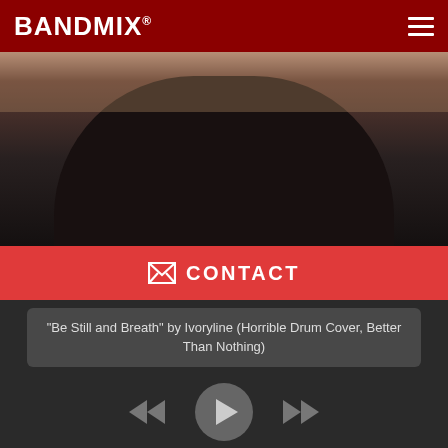BANDMIX®
[Figure (photo): Partial view of a person wearing a dark shirt, cropped to show neck and chest area, with blurred background]
✉ CONTACT
"Be Still and Breath" by Ivoryline (Horrible Drum Cover, Better Than Nothing)
[Figure (other): Audio player controls with skip-back, play, and skip-forward buttons on dark background]
GREENSBURG, PENNSYLVANIA, 15601
27 YEAR OLD MALE | ACTIVE WITHIN 2 WEEKS | ID#: 841082
MUSICIAN | ALTERNATIVE, PUNK, COVER/TRIBUTE, ROCK